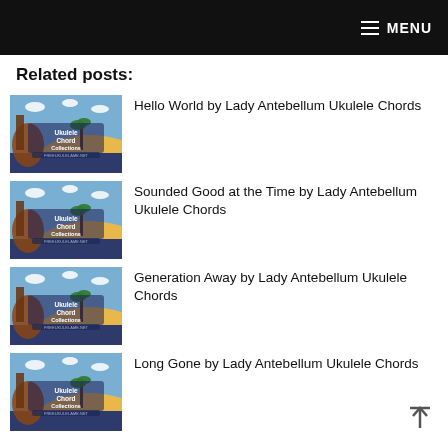MENU
Related posts:
Hello World by Lady Antebellum Ukulele Chords
Sounded Good at the Time by Lady Antebellum Ukulele Chords
Generation Away by Lady Antebellum Ukulele Chords
Long Gone by Lady Antebellum Ukulele Chords